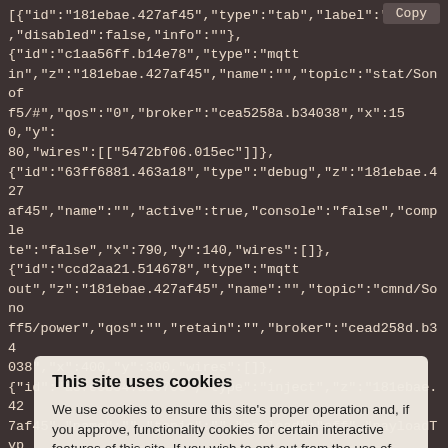[{"id":"181ebae.427af45","type":"tab","label":"Tas","disabled":false,"info":""},
{"id":"c1aa56ff.b14e78","type":"mqtt in","z":"181ebae.427af45","name":"","topic":"stat/Sonoff5/#","qos":"0","broker":"cea5258a.b34038","x":150,"y":80,"wires":[["5472bf06.015ec"]]},
{"id":"63ff6881.463a18","type":"debug","z":"181ebae.427af45","name":"","active":true,"console":"false","complete":"false","x":790,"y":140,"wires":[]},
{"id":"ccd2aa21.514678","type":"mqtt out","z":"181ebae.427af45","name":"","topic":"cmnd/Sonoff5/power","qos":"","retain":"","broker":"cead258d.b34038","x":400,"y":300,"wires":[]},
{"id":"a3fe3b54.a10708","type":"inject","z":"181ebae.427af45","name":"","topic":"","payload":"off","payloadType":"str","repeat":"","crontab":"","once":false,"x":170,"y":300,"wires":[["ccd2aa21.514678"]]},
{"id":"9d353b99.5aa628","type":"inject","z":"181ebae.427af45","name":"","topic":"","payload":"on","payloadType":"str","repeat":"","crontab":"","once":false,"x":170,"y":240,"wires":[["ccd2aa21.514678"]]}
[Figure (screenshot): Cookie consent overlay with title 'This site uses cookies', descriptive text about cookies policy, an Accept button, and a Settings... link]